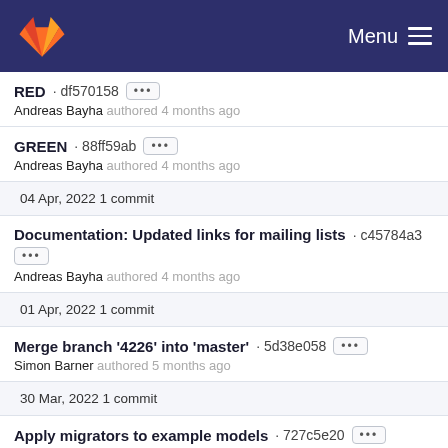GitLab · Menu
RED · df570158 ···
Andreas Bayha authored 4 months ago
GREEN · 88ff59ab ···
Andreas Bayha authored 4 months ago
04 Apr, 2022 1 commit
Documentation: Updated links for mailing lists · c45784a3 ···
Andreas Bayha authored 4 months ago
01 Apr, 2022 1 commit
Merge branch '4226' into 'master' · 5d38e058 ···
Simon Barner authored 5 months ago
30 Mar, 2022 1 commit
Apply migrators to example models · 727c5e20 ···